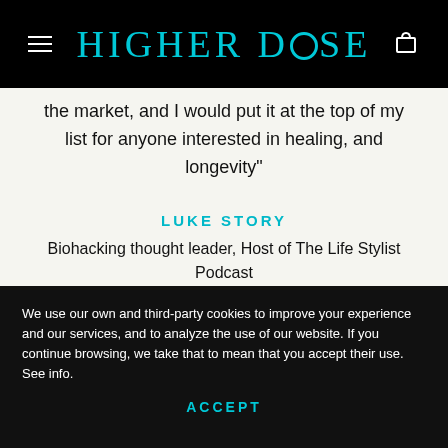HIGHERDOSE
the market, and I would put it at the top of my list for anyone interested in healing, and longevity"
LUKE STORY
Biohacking thought leader, Host of The Life Stylist Podcast
We use our own and third-party cookies to improve your experience and our services, and to analyze the use of our website. If you continue browsing, we take that to mean that you accept their use. See info.
ACCEPT